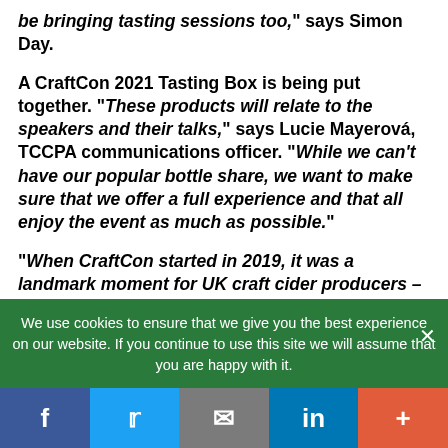be bringing tasting sessions too," says Simon Day.

A CraftCon 2021 Tasting Box is being put together. "These products will relate to the speakers and their talks," says Lucie Mayerová, TCCPA communications officer. "While we can't have our popular bottle share, we want to make sure that we offer a full experience and that all enjoy the event as much as possible."

"When CraftCon started in 2019, it was a landmark moment for UK craft cider producers – finally we had an event for cidermakers, from
We use cookies to ensure that we give you the best experience on our website. If you continue to use this site we will assume that you are happy with it.